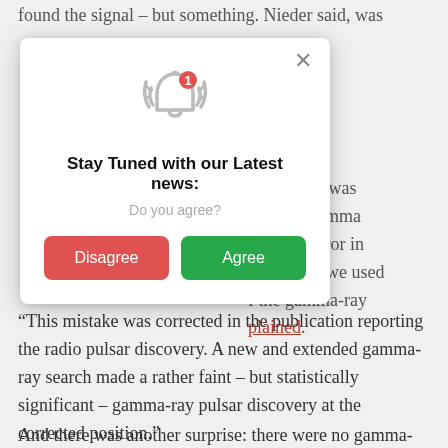found the signal – but something. Nieder said, was
[Figure (screenshot): A modal dialog popup with a notification bell icon (with red badge showing '1'), title 'Stay Tuned with our Latest news:', subtitle 'Do you agree?', and two buttons: red 'Disagree' and green 'Agree', with an X close button in the top right.]
te where it was
ction of gamma
position error in
ons which we used
f the gamma-ray
plained.
“This mistake was corrected in the publication reporting the radio pulsar discovery. A new and extended gamma-ray search made a rather faint – but statistically significant – gamma-ray pulsar discovery at the corrected position.”
And there was another surprise: there were no gamma-